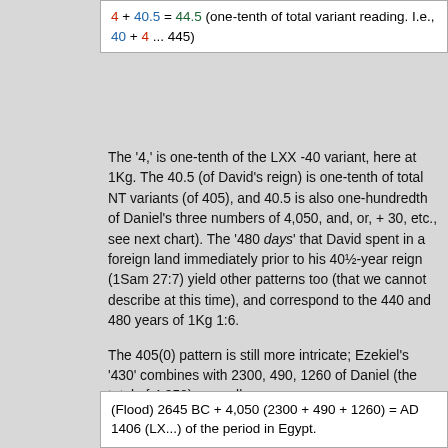4 + 40.5 = 44.5 (one-tenth of total variant reading. I.e., 40 + 4 ... 445)
The '4,' is one-tenth of the LXX -40 variant, here at 1Kg. The 40.5 (of David's reign) is one-tenth of total NT variants (of 405), and 40.5 is also one-hundredth of Daniel's three numbers of 4,050, and, or, + 30, etc., see next chart). The '480 days' that David spent in a foreign land immediately prior to his 40½-year reign (1Sam 27:7) yield other patterns too (that we cannot describe at this time), and correspond to the 440 and 480 years of 1Kg 1:6.

The 405(0) pattern is still more intricate; Ezekiel's '430' combines with 2300, 490, 1260 of Daniel (the total of 4,050), as well.
(Flood) 2645 BC + 4,050 (2300 + 490 + 1260) = AD 1406 (LX...) of the period in Egypt.